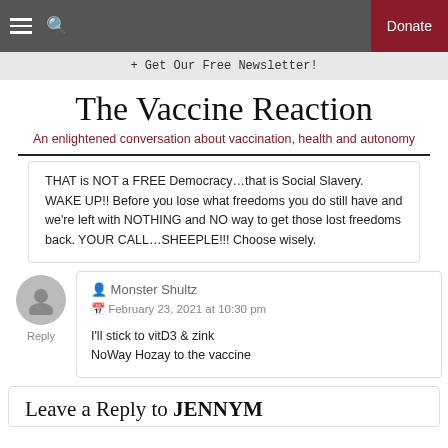≡  🔍  Donate
+ Get Our Free Newsletter!
The Vaccine Reaction
An enlightened conversation about vaccination, health and autonomy
THAT is NOT a FREE Democracy…that is Social Slavery. WAKE UP!! Before you lose what freedoms you do still have and we're left with NOTHING and NO way to get those lost freedoms back. YOUR CALL…SHEEPLE!!! Choose wisely.
Monster Shultz
February 23, 2021 at 10:30 pm

I'll stick to vitD3 & zink
NoWay Hozay to the vaccine
Leave a Reply to JENNYM